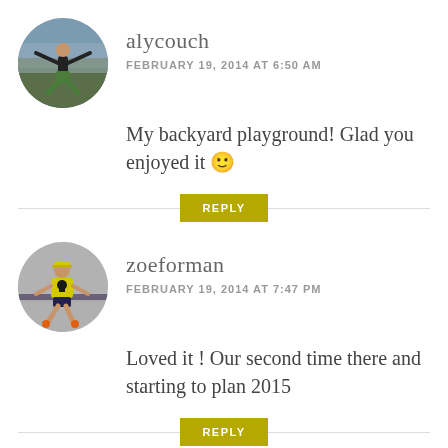[Figure (photo): Circular avatar of alycouch — person jumping with arms spread against an outdoor rocky background]
alycouch
FEBRUARY 19, 2014 AT 6:50 AM
My backyard playground! Glad you enjoyed it 🙂
REPLY
[Figure (photo): Circular avatar of zoeforman — person running in a race wearing a yellow skull-and-crossbones shirt]
zoeforman
FEBRUARY 19, 2014 AT 7:47 PM
Loved it ! Our second time there and starting to plan 2015
REPLY